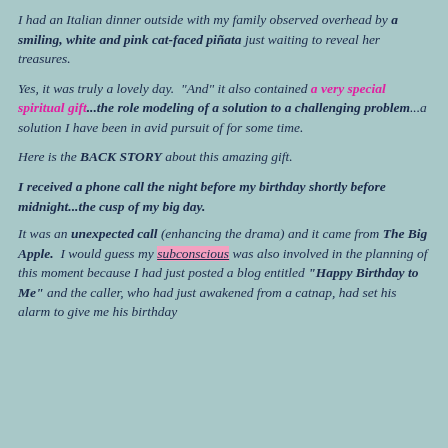I had an Italian dinner outside with my family observed overhead by a smiling, white and pink cat-faced piñata just waiting to reveal her treasures.
Yes, it was truly a lovely day. "And" it also contained a very special spiritual gift...the role modeling of a solution to a challenging problem...a solution I have been in avid pursuit of for some time.
Here is the BACK STORY about this amazing gift.
I received a phone call the night before my birthday shortly before midnight...the cusp of my big day.
It was an unexpected call (enhancing the drama) and it came from The Big Apple. I would guess my subconscious was also involved in the planning of this moment because I had just posted a blog entitled "Happy Birthday to Me" and the caller, who had just awakened from a catnap, had set his alarm to give me his birthday